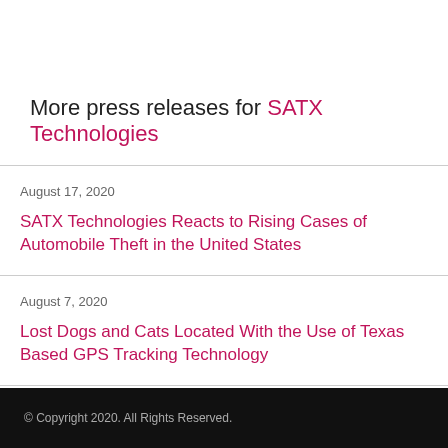More press releases for SATX Technologies
August 17, 2020
SATX Technologies Reacts to Rising Cases of Automobile Theft in the United States
August 7, 2020
Lost Dogs and Cats Located With the Use of Texas Based GPS Tracking Technology
© Copyright 2020. All Rights Reserved.